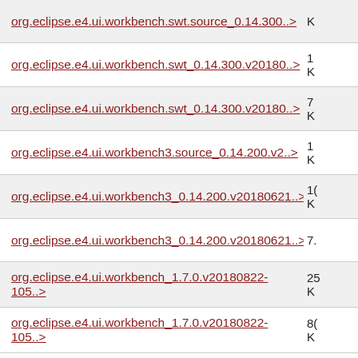org.eclipse.e4.ui.workbench.swt.source_0.14.300..>
org.eclipse.e4.ui.workbench.swt_0.14.300.v20180..>
org.eclipse.e4.ui.workbench.swt_0.14.300.v20180..>
org.eclipse.e4.ui.workbench3.source_0.14.200.v2..>
org.eclipse.e4.ui.workbench3_0.14.200.v20180621..>
org.eclipse.e4.ui.workbench3_0.14.200.v20180621..>
org.eclipse.e4.ui.workbench_1.7.0.v20180822-105..>
org.eclipse.e4.ui.workbench_1.7.0.v20180822-105..>